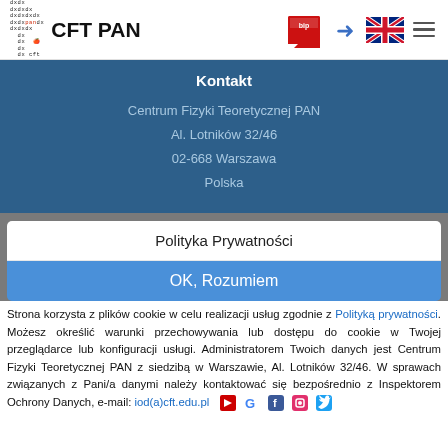CFT PAN
Kontakt
Centrum Fizyki Teoretycznej PAN
Al. Lotników 32/46
02-668 Warszawa
Polska
Polityka Prywatności
OK, Rozumiem
Strona korzysta z plików cookie w celu realizacji usług zgodnie z Polityką prywatności. Możesz określić warunki przechowywania lub dostępu do cookie w Twojej przeglądarce lub konfiguracji usługi. Administratorem Twoich danych jest Centrum Fizyki Teoretycznej PAN z siedzibą w Warszawie, Al. Lotników 32/46. W sprawach związanych z Pani/a danymi należy kontaktować się bezpośrednio z Inspektorem Ochrony Danych, e-mail: iod(a)cft.edu.pl